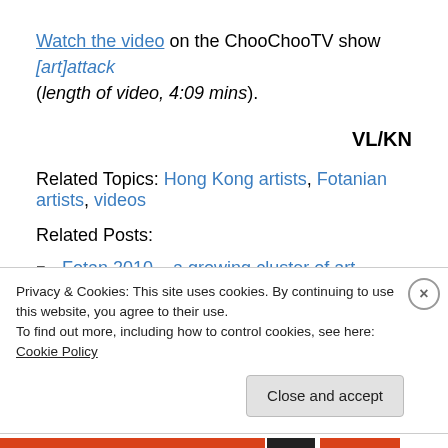Watch the video on the ChooChooTV show [art]attack (length of video, 4:09 mins).
VL/KN
Related Topics: Hong Kong artists, Fotanian artists, videos
Related Posts:
Fotan 2010 – a growing cluster of art studios in Hong Kong – February 2010 – art studios based in Fotan on
Privacy & Cookies: This site uses cookies. By continuing to use this website, you agree to their use. To find out more, including how to control cookies, see here: Cookie Policy
Close and accept